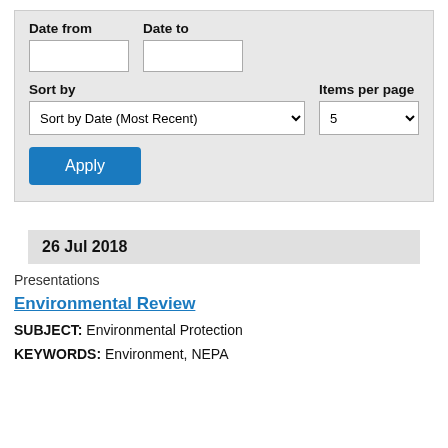[Figure (screenshot): Web search filter form with Date from, Date to, Sort by, Items per page fields and Apply button]
26 Jul 2018
Presentations
Environmental Review
SUBJECT: Environmental Protection
KEYWORDS: Environment, NEPA